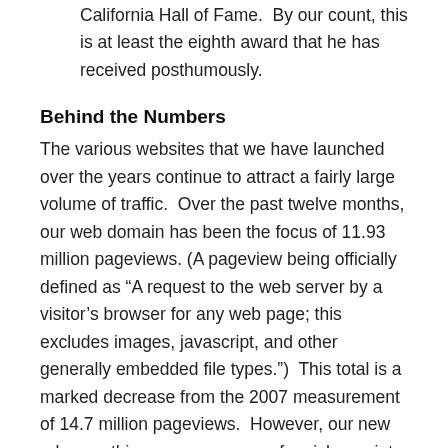California Hall of Fame.  By our count, this is at least the eighth award that he has received posthumously.
Behind the Numbers
The various websites that we have launched over the years continue to attract a fairly large volume of traffic.  Over the past twelve months, our web domain has been the focus of 11.93 million pageviews. (A pageview being officially defined as “A request to the web server by a visitor’s browser for any web page; this excludes images, javascript, and other generally embedded file types.”)  This total is a marked decrease from the 2007 measurement of 14.7 million pageviews.  However, our new releases this year were more of a niche variety, whereas 2007 marked the launch of “Linus Pauling and the International Peace Movement: A Documentary History,” as well as two additional pages of Pauling Documents. The